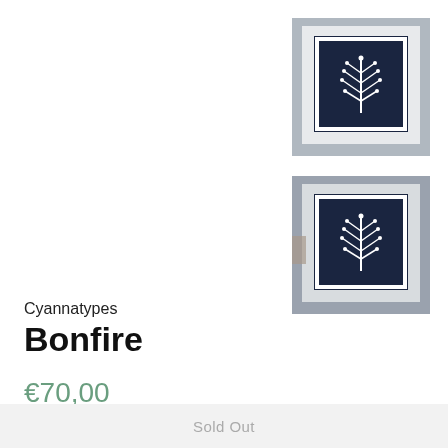[Figure (photo): Thumbnail image of a cyanotype print (Bonfire) – white plant/leaf silhouette on dark navy blue background, framed with white border, photographed on grey surface. First thumbnail.]
[Figure (photo): Thumbnail image of the same cyanotype print (Bonfire) – white plant/leaf silhouette on dark navy blue background, framed with white border, photographed on grey surface. Second thumbnail.]
Cyannatypes
Bonfire
€70,00
Tax included. Shipping calculated at checkout.
Sold Out